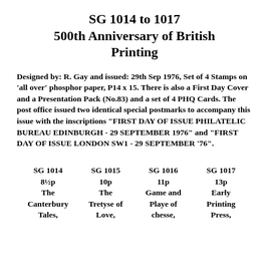SG 1014 to 1017
500th Anniversary of British Printing
Designed by: R. Gay and issued: 29th Sep 1976, Set of 4 Stamps on 'all over' phosphor paper, P14 x 15. There is also a First Day Cover and a Presentation Pack (No.83) and a set of 4 PHQ Cards. The post office issued two identical special postmarks to accompany this issue with the inscriptions "FIRST DAY OF ISSUE PHILATELIC BUREAU EDINBURGH - 29 SEPTEMBER 1976" and "FIRST DAY OF ISSUE LONDON SW1 - 29 SEPTEMBER '76".
SG 1014
8½p
The
Canterbury
Tales,
SG 1015
10p
The
Tretyse of
Love,
SG 1016
11p
Game and
Playe of
chesse,
SG 1017
13p
Early
Printing
Press,